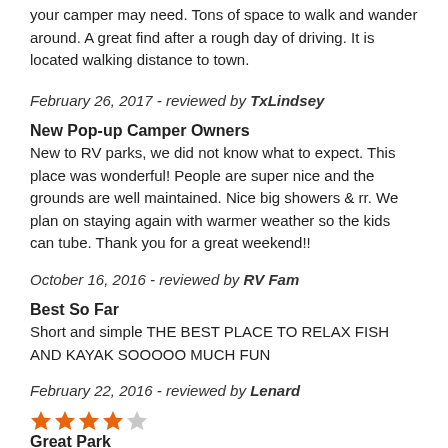your camper may need. Tons of space to walk and wander around. A great find after a rough day of driving. It is located walking distance to town.
February 26, 2017 - reviewed by TxLindsey
New Pop-up Camper Owners
New to RV parks, we did not know what to expect. This place was wonderful! People are super nice and the grounds are well maintained. Nice big showers & rr. We plan on staying again with warmer weather so the kids can tube. Thank you for a great weekend!!
October 16, 2016 - reviewed by RV Fam
Best So Far
Short and simple THE BEST PLACE TO RELAX FISH AND KAYAK SOOOOO MUCH FUN
February 22, 2016 - reviewed by Lenard
[Figure (other): 4-star rating: 4 orange stars and 1 gray star]
Great Park
The folks are friendly and the park is scenic along through